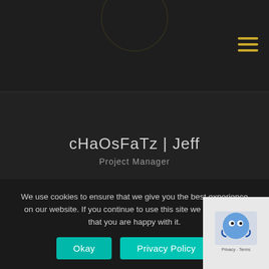[Figure (logo): Circular logo partially visible at top center of dark header bar]
[Figure (illustration): Hamburger menu icon with three horizontal yellow/gold lines in top right corner]
cHaOsFaTz | Jeff
Project Manager
We use cookies to ensure that we give you the best experience on our website. If you continue to use this site we will assume that you are happy with it.
[Figure (other): reCAPTCHA badge with blue robot icon and Privacy - Terms text]